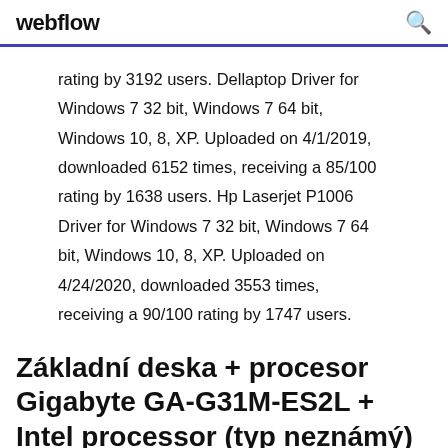webflow
rating by 3192 users. Dellaptop Driver for Windows 7 32 bit, Windows 7 64 bit, Windows 10, 8, XP. Uploaded on 4/1/2019, downloaded 6152 times, receiving a 85/100 rating by 1638 users. Hp Laserjet P1006 Driver for Windows 7 32 bit, Windows 7 64 bit, Windows 10, 8, XP. Uploaded on 4/24/2020, downloaded 3553 times, receiving a 90/100 rating by 1747 users.
Základní deska + procesor Gigabyte GA-G31M-ES2L + Intel processor (typ neznámý) Stav: Použito. Vyjmuto z funkčního systému, ale již nějakou dobu